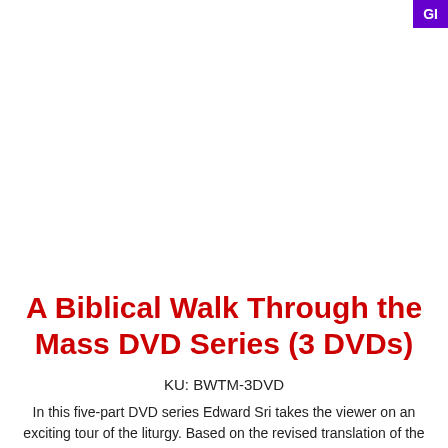GI
A Biblical Walk Through the Mass DVD Series (3 DVDs)
KU: BWTM-3DVD
In this five-part DVD series Edward Sri takes the viewer on an exciting tour of the liturgy. Based on the revised translation of the Mass which goes into effect Advent, 2011, it explores the biblical